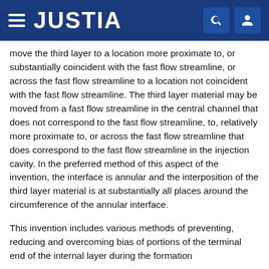JUSTIA
move the third layer to a location more proximate to, or substantially coincident with the fast flow streamline, or across the fast flow streamline to a location not coincident with the fast flow streamline. The third layer material may be moved from a fast flow streamline in the central channel that does not correspond to the fast flow streamline, to, relatively more proximate to, or across the fast flow streamline that does correspond to the fast flow streamline in the injection cavity. In the preferred method of this aspect of the invention, the interface is annular and the interposition of the third layer material is at substantially all places around the circumference of the annular interface.
This invention includes various methods of preventing, reducing and overcoming bias of portions of the terminal end of the internal layer during the formation